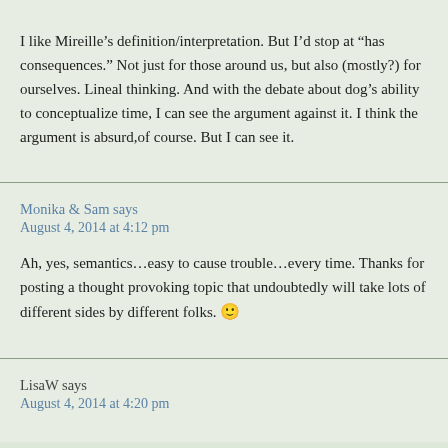I like Mireille’s definition/interpretation. But I’d stop at “has consequences.” Not just for those around us, but also (mostly?) for ourselves. Lineal thinking. And with the debate about dog’s ability to conceptualize time, I can see the argument against it. I think the argument is absurd,of course. But I can see it.
Monika & Sam says
August 4, 2014 at 4:12 pm
Ah, yes, semantics…easy to cause trouble…every time. Thanks for posting a thought provoking topic that undoubtedly will take lots of different sides by different folks. 🙂
LisaW says
August 4, 2014 at 4:20 pm